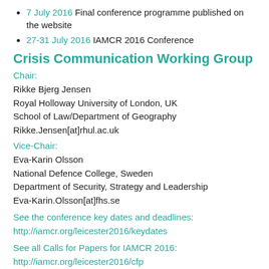7 July 2016 Final conference programme published on the website
27-31 July 2016 IAMCR 2016 Conference
Crisis Communication Working Group
Chair:
Rikke Bjerg Jensen
Royal Holloway University of London, UK
School of Law/Department of Geography
Rikke.Jensen[at]rhul.ac.uk
Vice-Chair:
Eva-Karin Olsson
National Defence College, Sweden
Department of Security, Strategy and Leadership
Eva-Karin.Olsson[at]fhs.se
See the conference key dates and deadlines:
http://iamcr.org/leicester2016/keydates
See all Calls for Papers for IAMCR 2016:
http://iamcr.org/leicester2016/cfp